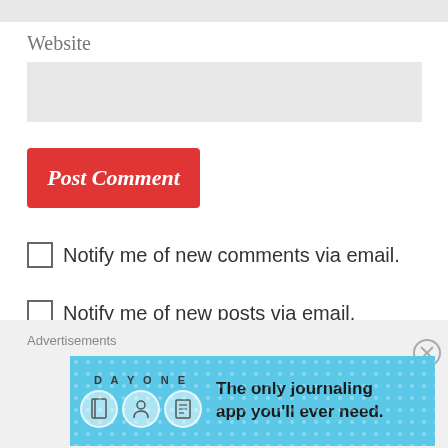Website
Post Comment
Notify me of new comments via email.
Notify me of new posts via email.
Advertisements
[Figure (illustration): Day One journaling app advertisement banner with blue background, icons, and text: 'The only journaling app you'll ever need.']